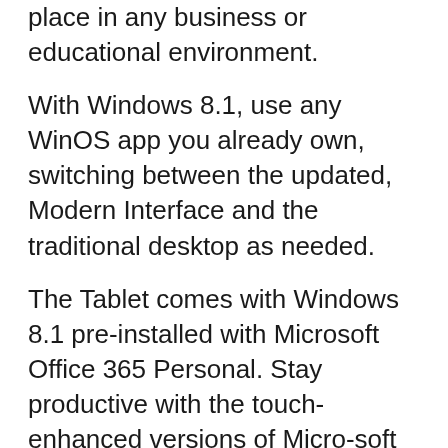place in any business or educational environment.
With Windows 8.1, use any WinOS app you already own, switching between the updated, Modern Interface and the traditional desktop as needed.
The Tablet comes with Windows 8.1 pre-installed with Microsoft Office 365 Personal. Stay productive with the touch-enhanced versions of Micro-soft Word, Excel, PowerPoint and OneNote. *Office 365 Personal 1-year. Activation required within limited time.